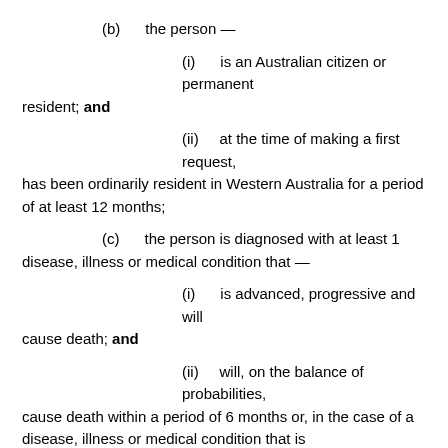(b)    the person —
(i)    is an Australian citizen or permanent resident; and
(ii)    at the time of making a first request, has been ordinarily resident in Western Australia for a period of at least 12 months;
(c)    the person is diagnosed with at least 1 disease, illness or medical condition that —
(i)    is advanced, progressive and will cause death; and
(ii)    will, on the balance of probabilities, cause death within a period of 6 months or, in the case of a disease, illness or medical condition that is neurodegenerative,